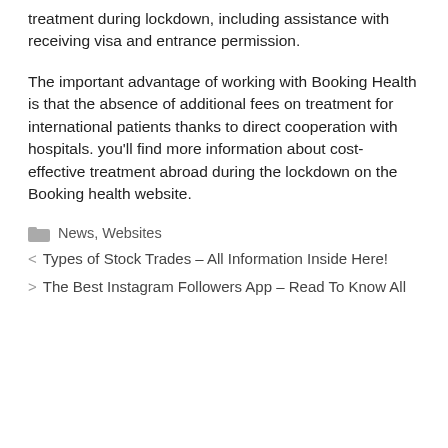treatment during lockdown, including assistance with receiving visa and entrance permission.
The important advantage of working with Booking Health is that the absence of additional fees on treatment for international patients thanks to direct cooperation with hospitals. you'll find more information about cost-effective treatment abroad during the lockdown on the Booking health website.
News, Websites
< Types of Stock Trades – All Information Inside Here!
> The Best Instagram Followers App – Read To Know All